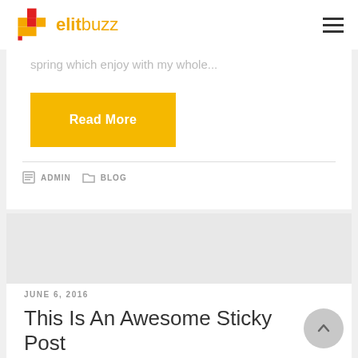elitbuzz
spring which enjoy with my whole...
Read More
ADMIN   BLOG
JUNE 6, 2016
This Is An Awesome Sticky Post